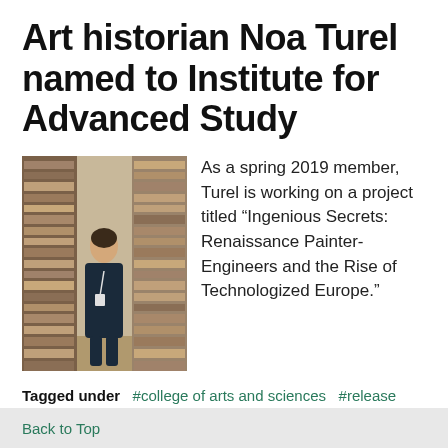Art historian Noa Turel named to Institute for Advanced Study
[Figure (photo): Woman standing in a library aisle lined with shelved books and archival materials]
As a spring 2019 member, Turel is working on a project titled “Ingenious Secrets: Renaissance Painter-Engineers and the Rise of Technologized Europe.”
Tagged under  #college of arts and sciences  #release  #department of art and art history  #faculty
READ MORE...
Back to Top